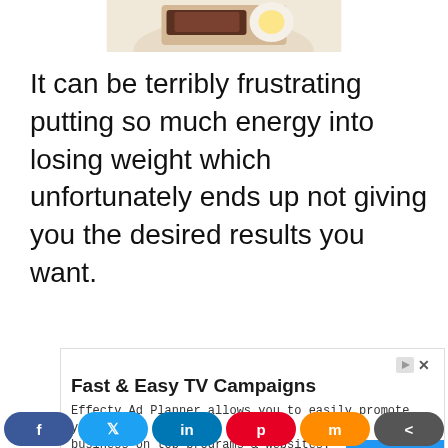[Figure (photo): Partial view of a food dish on a plate, cropped at top of the page]
It can be terribly frustrating putting so much energy into losing weight which unfortunately ends up not giving you the desired results you want.
[Figure (screenshot): Advertisement: Fast & Easy TV Campaigns. Effectv Ad Planner allows you to easily promote your business on top programs & websites. Learn More button.]
[Figure (infographic): Social sharing bar at bottom with Facebook, Twitter, LinkedIn, Pinterest, Mix, and Share buttons]